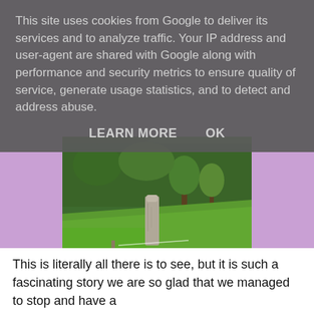This site uses cookies from Google to deliver its services and to analyze traffic. Your IP address and user-agent are shared with Google along with performance and security metrics to ensure quality of service, generate usage statistics, and to detect and address abuse.
LEARN MORE    OK
[Figure (photo): A standing stone monument in a green grassy field with trees and hillside in the background.]
This is literally all there is to see, but it is such a fascinating story we are so glad that we managed to stop and have a